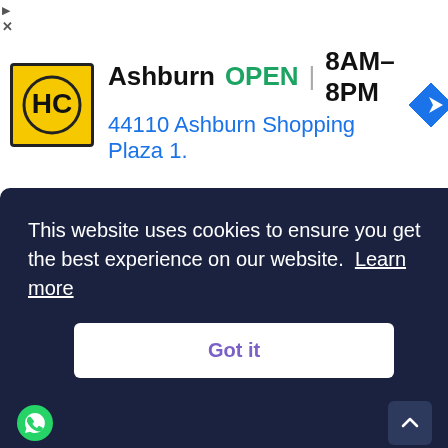[Figure (screenshot): Ad banner for Hardee's Ashburn location showing logo, OPEN status, hours 8AM-8PM, address 44110 Ashburn Shopping Plaza 1., and navigation icon]
with care and respect, while keeping them engaged and interested in their studies.
Where: 7 Khaled Ibn Al Waleed St, New Cairo
Contact: 16489
This website uses cookies to ensure you get the best experience on our website. Learn more
Got it